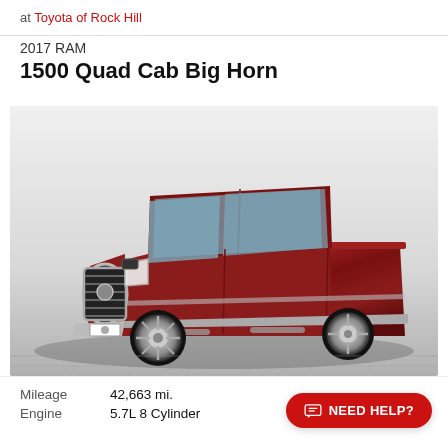at Toyota of Rock Hill
2017 RAM
1500 Quad Cab Big Horn
[Figure (photo): A 2017 RAM 1500 Quad Cab Big Horn truck in deep red/maroon color, photographed at a three-quarter front angle on a gray tiled surface with a white/gray gradient background.]
Mileage   42,663 mi.
Engine   5.7L 8 Cylinder
NEED HELP?